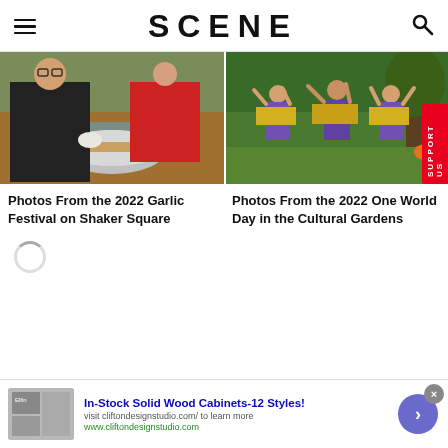SCENE
[Figure (photo): Person in black apron and gloves serving food from a large metal bowl at an outdoor festival, another person in red shirt in background]
[Figure (photo): Three women in colorful purple and yellow traditional Indian dance costumes performing outdoors in a garden with trees]
Photos From the 2022 Garlic Festival on Shaker Square
Photos From the 2022 One World Day in the Cultural Gardens
In-Stock Solid Wood Cabinets-12 Styles!
visit cliftondesignstudio.com/ to learn more
www.cliftondesignstudio.com